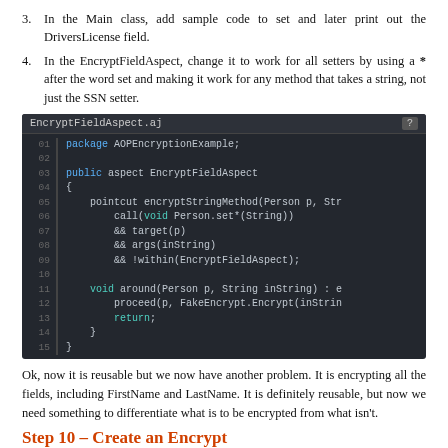3. In the Main class, add sample code to set and later print out the DriversLicense field.
4. In the EncryptFieldAspect, change it to work for all setters by using a * after the word set and making it work for any method that takes a string, not just the SSN setter.
[Figure (screenshot): Code editor screenshot showing EncryptFieldAspect.aj file with AspectJ code defining a pointcut encryptStringMethod on Person.set*(String) and a void around advice calling proceed with FakeEncrypt.Encrypt.]
Ok, now it is reusable but we now have another problem. It is encrypting all the fields, including FirstName and LastName. It is definitely reusable, but now we need something to differentiate what is to be encrypted from what isn't.
Step 10 – Create an Encrypt